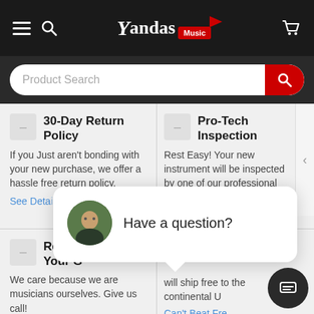[Figure (screenshot): Yandas Music website screenshot showing navigation header with hamburger menu, search icon, Yandas Music logo, and cart icon on dark background]
Product Search
30-Day Return Policy
If you Just aren't bonding with your new purchase, we offer a hassle free return policy.
See Deta[ils]
Pro-Tech Inspection
Rest Easy! Your new instrument will be inspected by one of our professional technicians
close
Ready [to] Your G[ear]
We care because we are musicians ourselves. Give us call!
will ship free to the continental U[S]
Can't Beat Fre[e]
1-800-338-6939
Have a question?